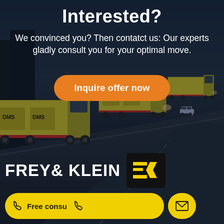Interested?
We convinced you? Then contatct us: Our experts gladly consult you for your optimal move.
Inquire offer now
[Figure (logo): FREY & KLEIN company logo with yellow FK chevron icon on black background]
Free consu
(phone icon button)
(envelope icon button)